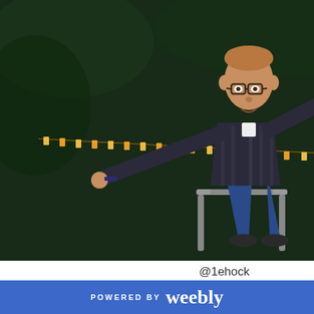[Figure (photo): Young man with glasses sitting in a chair outdoors at night, arms spread wide, making a peace sign. Background shows dark foliage and string lights. He is wearing a plaid shirt.]
@1ehock
Major:
Year: C
When
Fall, 20
What
I'm the buying manage Chairs, fundra
music theory, I'm an amateur arranger and manage to pump out occasionally Beatbox.
What's your favorite song the group has ever performed?
Definitely "Mary Did You Know" with "I Want You Back" in a close
POWERED BY weebly